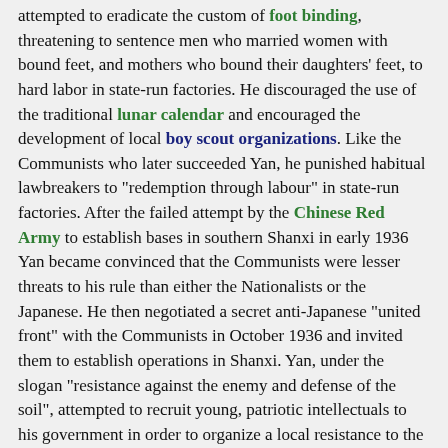attempted to eradicate the custom of foot binding, threatening to sentence men who married women with bound feet, and mothers who bound their daughters' feet, to hard labor in state-run factories. He discouraged the use of the traditional lunar calendar and encouraged the development of local boy scout organizations. Like the Communists who later succeeded Yan, he punished habitual lawbreakers to "redemption through labour" in state-run factories. After the failed attempt by the Chinese Red Army to establish bases in southern Shanxi in early 1936 Yan became convinced that the Communists were lesser threats to his rule than either the Nationalists or the Japanese. He then negotiated a secret anti-Japanese "united front" with the Communists in October 1936 and invited them to establish operations in Shanxi. Yan, under the slogan "resistance against the enemy and defense of the soil", attempted to recruit young, patriotic intellectuals to his government in order to organize a local resistance to the threat of Japanese invasion. By the end of 1936 Taiyuan had become a gathering point for anti-Japanese intellectuals from all over China.